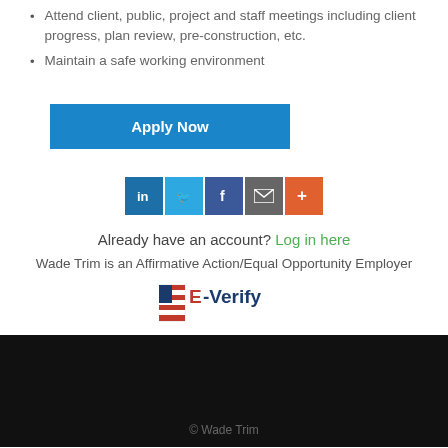Attend client, public, project and staff meetings including client progress, plan review, pre-construction, etc.
Maintain a safe working environment
Apply Now
[Figure (infographic): Social sharing icons row: LinkedIn (blue), Twitter (light blue), Facebook (dark blue), Email (grey), More (orange)]
Already have an account? Log in here
Wade Trim is an Affirmative Action/Equal Opportunity Employer
[Figure (logo): E-Verify logo with US flag icon and E-Verify text in red and dark blue]
© Wade Trim